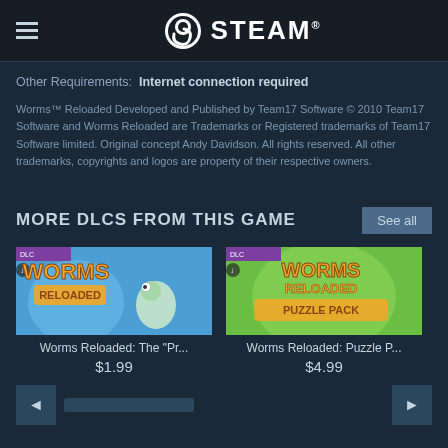STEAM
Other Requirements: Internet connection required
Worms™ Reloaded Developed and Published by Team17 Software © 2010 Team17 Software and Worms Reloaded are Trademarks or Registered trademarks of Team17 Software limited. Original concept Andy Davidson. All rights reserved. All other trademarks, copyrights and logos are property of their respective owners.
MORE DLCS FROM THIS GAME
[Figure (screenshot): Worms Reloaded DLC thumbnail - blue background with Worms Reloaded logo and worm characters]
Worms Reloaded: The "Pr...
$1.99
[Figure (screenshot): Worms Reloaded Puzzle Pack DLC thumbnail - green background with Worms Reloaded Puzzle Pack logo]
Worms Reloaded: Puzzle P...
$4.99
[Figure (screenshot): Partially visible third DLC thumbnail - purple/grey background]